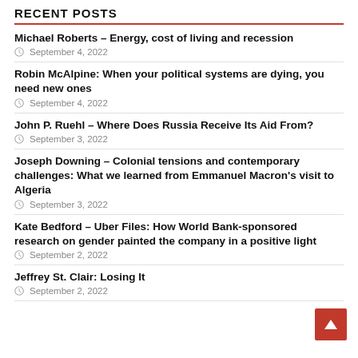RECENT POSTS
Michael Roberts – Energy, cost of living and recession
September 4, 2022
Robin McAlpine: When your political systems are dying, you need new ones
September 4, 2022
John P. Ruehl – Where Does Russia Receive Its Aid From?
September 3, 2022
Joseph Downing – Colonial tensions and contemporary challenges: What we learned from Emmanuel Macron's visit to Algeria
September 3, 2022
Kate Bedford – Uber Files: How World Bank-sponsored research on gender painted the company in a positive light
September 2, 2022
Jeffrey St. Clair: Losing It
September 2, 2022